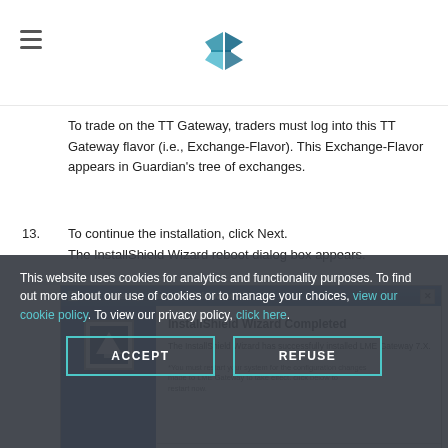TT platform documentation header with logo
To trade on the TT Gateway, traders must log into this TT Gateway flavor (i.e., Exchange-Flavor). This Exchange-Flavor appears in Guardian's tree of exchanges.
13. To continue the installation, click Next. The InstallShield Wizard reboot dialog box appears.
[Figure (screenshot): InstallShield Wizard Completed dialog box for LME Gateway 7.X installation showing completion message and Reboot Now button]
This website uses cookies for analytics and functionality purposes. To find out more about our use of cookies or to manage your choices, view our cookie policy. To view our privacy policy, click here.